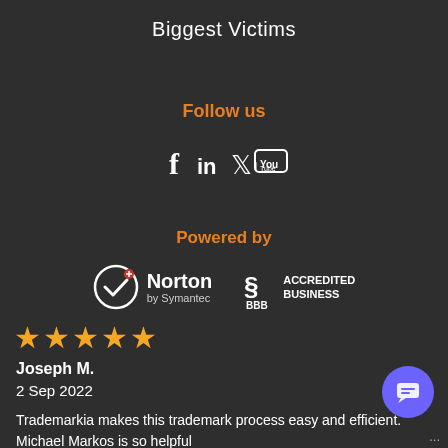Biggest Victims
Follow us
[Figure (infographic): Social media icons: Facebook (f), LinkedIn (in), Twitter bird, YouTube]
Powered by
[Figure (logo): Norton by Symantec logo badge]
[Figure (logo): BBB Accredited Business badge]
★★★★★
Joseph M.
2 Sep 2022
Trademarkia makes this trademark process easy and efficient. Michael Markos is so helpful